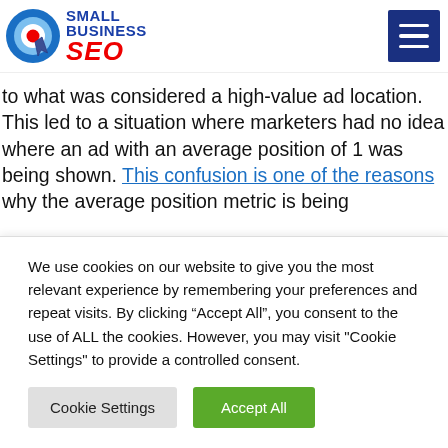Small Business SEO
to what was considered a high-value ad location. This led to a situation where marketers had no idea where an ad with an average position of 1 was being shown. This confusion is one of the reasons why the average position metric is being
We use cookies on our website to give you the most relevant experience by remembering your preferences and repeat visits. By clicking “Accept All”, you consent to the use of ALL the cookies. However, you may visit "Cookie Settings" to provide a controlled consent.